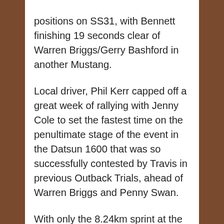positions on SS31, with Bennett finishing 19 seconds clear of Warren Briggs/Gerry Bashford in another Mustang.
Local driver, Phil Kerr capped off a great week of rallying with Jenny Cole to set the fastest time on the penultimate stage of the event in the Datsun 1600 that was so successfully contested by Travis in previous Outback Trials, ahead of Warren Briggs and Penny Swan.
With only the 8.24km sprint at the Finke Desert Track to finish the event, Penny Swan and Tony Robinson provided possibly the most spectacular action of the rally by getting a bit unstuck through a water splash before sliding through a fence and rolling the Volvo, before crossing the finish